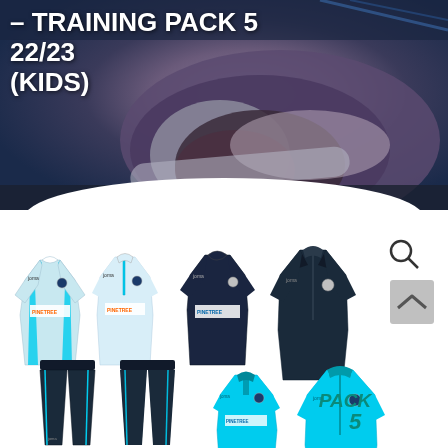[Figure (photo): Hero background image showing close-up of football boots/shoes with dark navy and grey tones, overlaid with white bold text reading '- TRAINING PACK 5 22/23 (KIDS)']
- TRAINING PACK 5 22/23 (KIDS)
[Figure (photo): Product pack image showing multiple Joma football training kit items: light blue training shirt with sponsor, light blue half-zip top, dark navy training shirt, dark navy jacket, dark navy tracksuit bottoms, cyan/turquoise polo shirt, cyan/turquoise zip jacket. Text 'PACK 5' in teal italic in bottom right.]